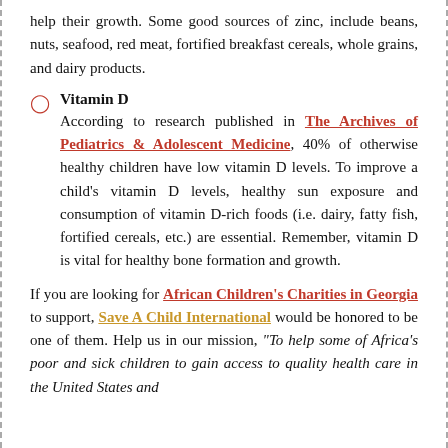help their growth. Some good sources of zinc, include beans, nuts, seafood, red meat, fortified breakfast cereals, whole grains, and dairy products.
Vitamin D
According to research published in The Archives of Pediatrics & Adolescent Medicine, 40% of otherwise healthy children have low vitamin D levels. To improve a child's vitamin D levels, healthy sun exposure and consumption of vitamin D-rich foods (i.e. dairy, fatty fish, fortified cereals, etc.) are essential. Remember, vitamin D is vital for healthy bone formation and growth.
If you are looking for African Children's Charities in Georgia to support, Save A Child International would be honored to be one of them. Help us in our mission, "To help some of Africa's poor and sick children to gain access to quality health care in the United States and